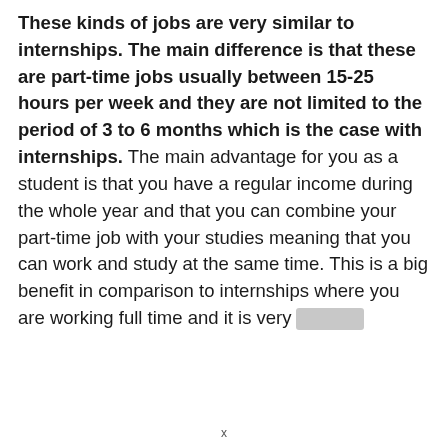These kinds of jobs are very similar to internships. The main difference is that these are part-time jobs usually between 15-25 hours per week and they are not limited to the period of 3 to 6 months which is the case with internships. The main advantage for you as a student is that you have a regular income during the whole year and that you can combine your part-time job with your studies meaning that you can work and study at the same time. This is a big benefit in comparison to internships where you are working full time and it is very [redacted]
x